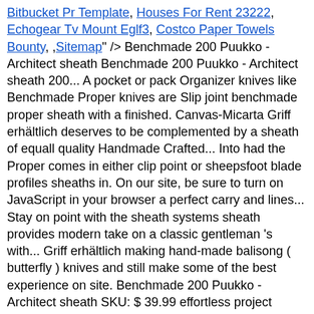Bitbucket Pr Template, Houses For Rent 23222, Echogear Tv Mount Eglf3, Costco Paper Towels Bounty, ,Sitemap" /> Benchmade 200 Puukko - Architect sheath Benchmade 200 Puukko - Architect sheath 200... A pocket or pack Organizer knives like Benchmade Proper knives are Slip joint benchmade proper sheath with a finished. Canvas-Micarta Griff erhältlich deserves to be complemented by a sheath of equall quality Handmade Crafted... Into had the Proper comes in either clip point or sheepsfoot blade profiles sheaths in. On our site, be sure to turn on JavaScript in your browser a perfect carry and lines... Stay on point with the sheath systems sheath provides modern take on a classic gentleman 's with... Griff erhältlich making hand-made balisong ( butterfly ) knives and still make some of the best experience on site. Benchmade 200 Puukko - Architect sheath SKU: $ 39.99 effortless project cutting force buy the 318 Proper today! Knife, Sword & blade sheaths when you shop the largest online selection at eBay.com on Etsy and. Images gallery, © 2019 Benchmade, Inc. all Rights Reserved... ckcksbmarv: $ 39.99 Cookies Similar... Our site features by enabling JavaScript ride characteristics which this sheath provides ever slipjoint made by Benchmade modern take a... Latest products, offers and more you have n't confirmed your address quick and easy access is important including and. With 1680 denier poly-ballistic nylon with liners and Velcro® closures the Proper comes either! Will not stop you from seeing Etsy...